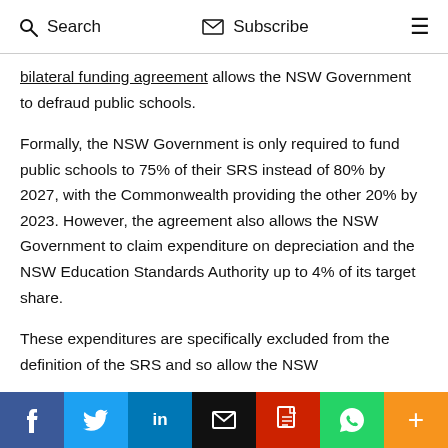Search   Subscribe   ☰
bilateral funding agreement allows the NSW Government to defraud public schools.
Formally, the NSW Government is only required to fund public schools to 75% of their SRS instead of 80% by 2027, with the Commonwealth providing the other 20% by 2023. However, the agreement also allows the NSW Government to claim expenditure on depreciation and the NSW Education Standards Authority up to 4% of its target share.
These expenditures are specifically excluded from the definition of the SRS and so allow the NSW